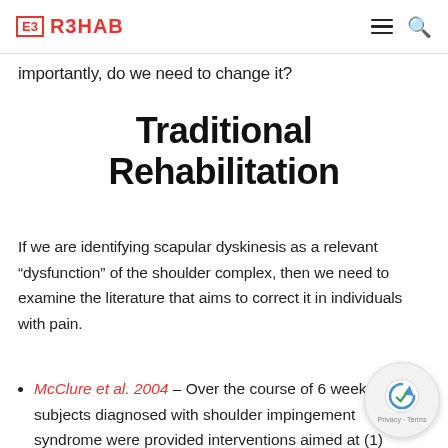E3 R3HAB
importantly, do we need to change it?
Traditional Rehabilitation
If we are identifying scapular dyskinesis as a relevant “dysfunction” of the shoulder complex, then we need to examine the literature that aims to correct it in individuals with pain.
McClure et al. 2004 – Over the course of 6 weeks, subjects diagnosed with shoulder impingement syndrome were provided interventions aimed at (1) strengthening the